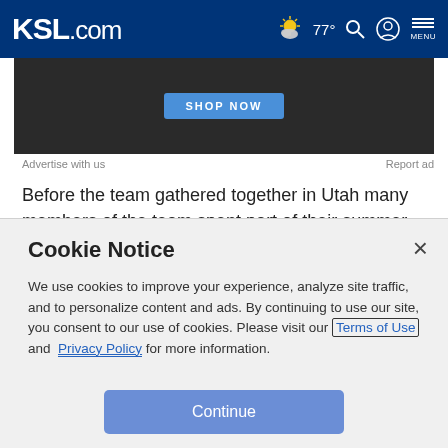KSL.com | 77° | Search | Account | MENU
[Figure (screenshot): Advertisement banner with 'SHOP NOW' button on dark background]
Advertise with us
Report ad
Before the team gathered together in Utah many members of the team spent part of their summer training at Peak Performance Project in Santa Barbara, California.
Peak Performance Project, also known as P3, was founded by Harvard trained physician Dr.Marcus Elliott. P3 was a
Cookie Notice
We use cookies to improve your experience, analyze site traffic, and to personalize content and ads. By continuing to use our site, you consent to our use of cookies. Please visit our Terms of Use and Privacy Policy for more information.
Continue